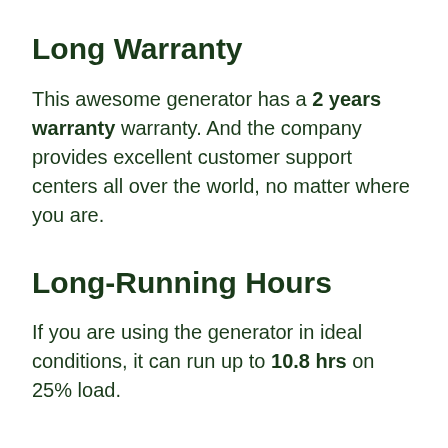Long Warranty
This awesome generator has a 2 years warranty warranty. And the company provides excellent customer support centers all over the world, no matter where you are.
Long-Running Hours
If you are using the generator in ideal conditions, it can run up to 10.8 hrs on 25% load.